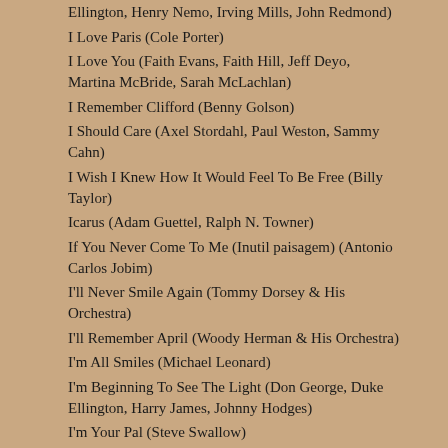Ellington, Henry Nemo, Irving Mills, John Redmond)
I Love Paris (Cole Porter)
I Love You (Faith Evans, Faith Hill, Jeff Deyo, Martina McBride, Sarah McLachlan)
I Remember Clifford (Benny Golson)
I Should Care (Axel Stordahl, Paul Weston, Sammy Cahn)
I Wish I Knew How It Would Feel To Be Free (Billy Taylor)
Icarus (Adam Guettel, Ralph N. Towner)
If You Never Come To Me (Inutil paisagem) (Antonio Carlos Jobim)
I'll Never Smile Again (Tommy Dorsey & His Orchestra)
I'll Remember April (Woody Herman & His Orchestra)
I'm All Smiles (Michael Leonard)
I'm Beginning To See The Light (Don George, Duke Ellington, Harry James, Johnny Hodges)
I'm Your Pal (Steve Swallow)
Impressions (John Coltrane)
In A Mellow Tone (Duke Ellington)
In A Sentimental Mood (Duke Ellington)
In The Mood (Ernie Field's Orchestra, Glenn Miller & His Orchestra)
In The Wee Small Hours Of The Morning (Frank Sinatra)
In Your Quiet Place (Keith Jarrett)